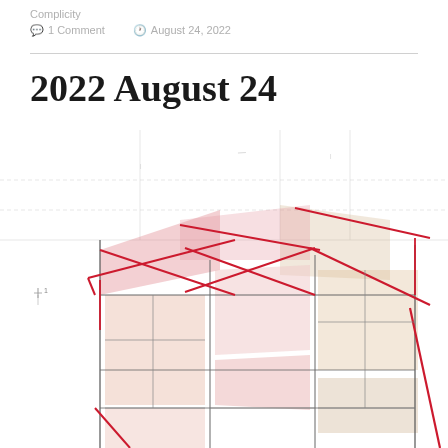Complicity
1 Comment   August 24, 2022
2022 August 24
[Figure (illustration): Architectural watercolor sketch of a building facade with angular geometric forms, red/pink watercolor washes on window panels and roof elements, pencil construction lines visible throughout, showing a modernist structure with large glazed windows and intersecting roof planes]